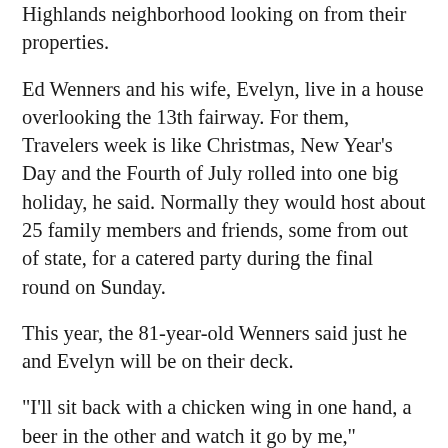Highlands neighborhood looking on from their properties.
Ed Wenners and his wife, Evelyn, live in a house overlooking the 13th fairway. For them, Travelers week is like Christmas, New Year’s Day and the Fourth of July rolled into one big holiday, he said. Normally they would host about 25 family members and friends, some from out of state, for a catered party during the final round on Sunday.
This year, the 81-year-old Wenners said just he and Evelyn will be on their deck.
“I’ll sit back with a chicken wing in one hand, a beer in the other and watch it go by me,” Wenners said. “We’ll have the TV on, too. It will still be a fun thing to do.”
While the rest of the community isn’t invited to the course, Grube said they will be part of the tournament.
There will be social media and other virtual interactions with fans. That will include an online “Kids Zone” with